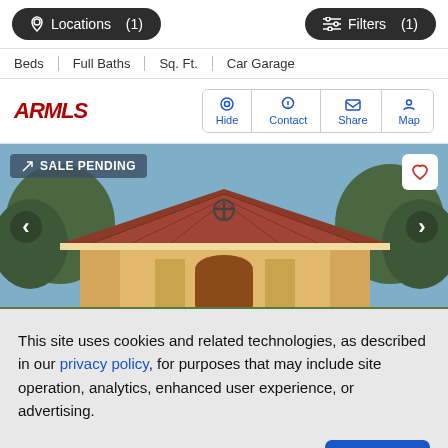Locations (1)  Filters (1)
Beds | Full Baths | Sq. Ft. | Car Garage
[Figure (logo): ARMLS logo in red italic bold text]
Hide  Contact  Share  Map
[Figure (photo): House with red tile roof, trees, and blue sky. Badge reads SALE PENDING.]
This site uses cookies and related technologies, as described in our privacy policy, for purposes that may include site operation, analytics, enhanced user experience, or advertising.
Manage Preferences  Accept